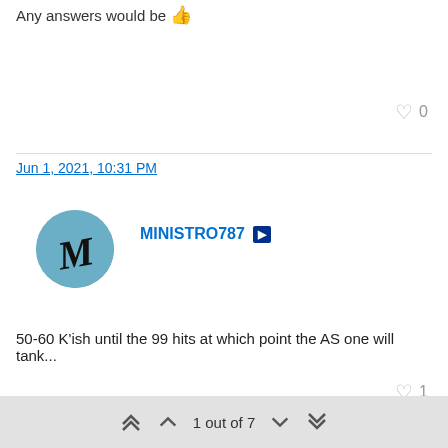Any answers would be 👍
♥ 0
Jun 1, 2021, 10:31 PM
MINISTRO787 [PS]
50-60 K'ish until the 99 hits at which point the AS one will tank...
♥ 1
Jun 1, 2021, 10:31 PM
Hikes83 [PS]
1 out of 7